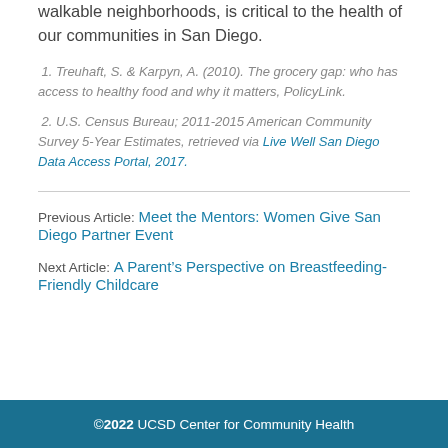walkable neighborhoods, is critical to the health of our communities in San Diego.
1. Treuhaft, S. & Karpyn, A. (2010). The grocery gap: who has access to healthy food and why it matters, PolicyLink.
2. U.S. Census Bureau; 2011-2015 American Community Survey 5-Year Estimates, retrieved via Live Well San Diego Data Access Portal, 2017.
Previous Article: Meet the Mentors: Women Give San Diego Partner Event
Next Article: A Parent’s Perspective on Breastfeeding-Friendly Childcare
©2022 UCSD Center for Community Health